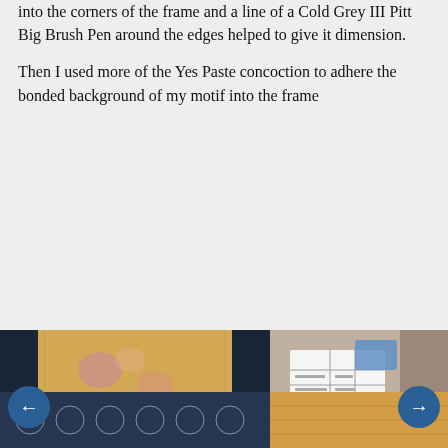into the corners of the frame and a line of a Cold Grey III Pitt Big Brush Pen around the edges helped to give it dimension.
Then I used more of the Yes Paste concoction to adhere the bonded background of my motif into the frame
[Figure (photo): Left image: mixed media artwork showing a framed piece with dark navy/black vertical side panels and a warm golden-yellow textured background with pink floral and leaf motifs. Right image: a document/receipt with printed text and a blue tape/flag visible at top, set against a decorative background.]
[Figure (photo): Bottom left: dark blue and white decorative fabric or background with intricate patterns. Bottom right: warm golden/orange fabric or material visible.]